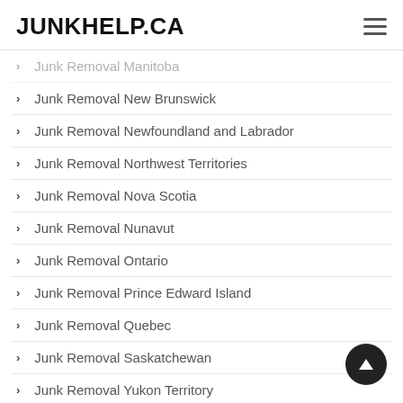JUNKHELP.CA
Junk Removal Manitoba (partially visible, cropped)
Junk Removal New Brunswick
Junk Removal Newfoundland and Labrador
Junk Removal Northwest Territories
Junk Removal Nova Scotia
Junk Removal Nunavut
Junk Removal Ontario
Junk Removal Prince Edward Island
Junk Removal Quebec
Junk Removal Saskatchewan
Junk Removal Yukon Territory